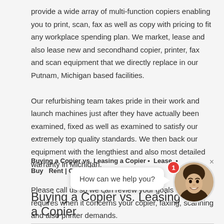provide a wide array of multi-function copiers enabling you to print, scan, fax as well as copy with pricing to fit any workplace spending plan. We market, lease and also lease new and secondhand copier, printer, fax and scan equipment that we directly replace in our Putnam, Michigan based facilities.
Our refurbishing team takes pride in their work and launch machines just after they have actually been examined, fixed as well as examined to satisfy our extremely top quality standards. We then back our equipment with the lengthiest and also most detailed warranty in Michigan.
Please call us so we can review your goals and also requires when it concerns your copier, faxing, scanning and also printer demands.
Buying a Copier vs. Leasing a Copier • Lease • Buy • Rent | Copy Machine Lea...
Buying a Copier vs. Leasing a Copier
[Figure (other): Chat widget with avatar photo of a woman smiling, red notification badge with '1', close button, and speech bubble saying 'How can we help you?']